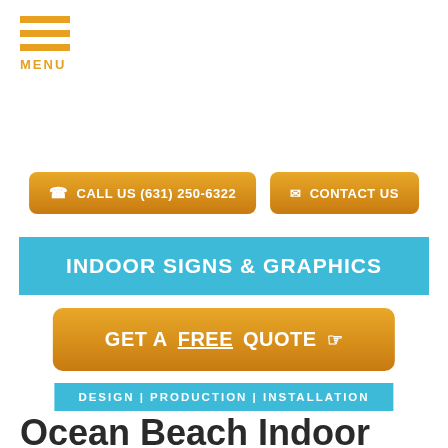MENU
CALL US (631) 250-6322
CONTACT US
INDOOR SIGNS & GRAPHICS
GET A FREE QUOTE
DESIGN | PRODUCTION | INSTALLATION
Ocean Beach Indoor Signs